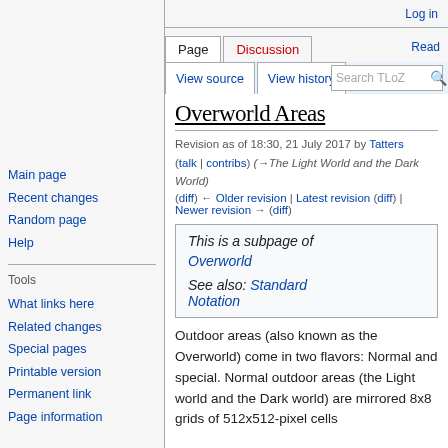Log in
[Figure (logo): MediaWiki logo placeholder showing brackets and sunflower with text: Set $wgLogo to the URL path to your own logo image.]
Main page
Recent changes
Random page
Help
Tools
What links here
Related changes
Special pages
Printable version
Permanent link
Page information
Overworld Areas
Revision as of 18:30, 21 July 2017 by Tatters (talk | contribs) (→The Light World and the Dark World)
(diff) ← Older revision | Latest revision (diff) | Newer revision → (diff)
This is a subpage of Overworld
See also: Standard Notation
Outdoor areas (also known as the Overworld) come in two flavors: Normal and special. Normal outdoor areas (the Light world and the Dark world) are mirrored 8x8 grids of 512x512-pixel cells